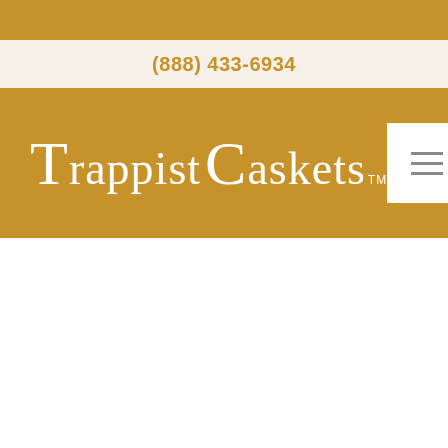(888) 433-6934
Trappist Caskets™
[Figure (logo): Trappist Caskets logo with white serif text on golden-brown background, with hamburger menu button]